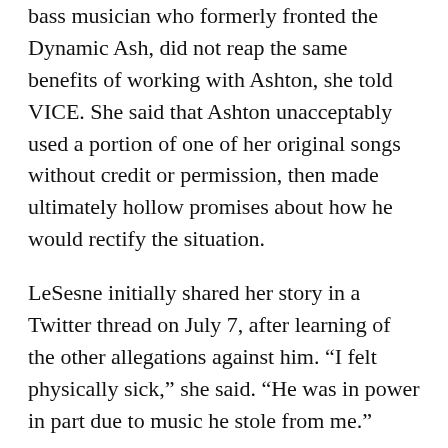bass musician who formerly fronted the Dynamic Ash, did not reap the same benefits of working with Ashton, she told VICE. She said that Ashton unacceptably used a portion of one of her original songs without credit or permission, then made ultimately hollow promises about how he would rectify the situation.
LeSesne initially shared her story in a Twitter thread on July 7, after learning of the other allegations against him. “I felt physically sick,” she said. “He was in power in part due to music he stole from me.”
In 2010, LeSesne recalled learning about the Bassnectar song, “Here We Go.” The title references lyrics originally rapped by MC Sphinx for LeSesne’s 1.8.7 song, “5 A.M. Rinse.”
“It’s dance music and everybody does small samples. But this wasn’t a small sample, this was basically taking an entire segment of a song and claiming it’s yours,” she said.